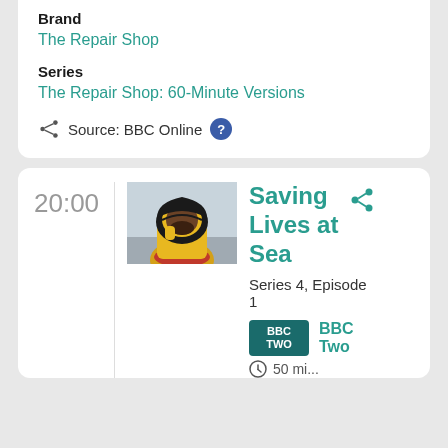Brand
The Repair Shop
Series
The Repair Shop: 60-Minute Versions
Source: BBC Online
20:00
[Figure (photo): Person wearing yellow rain jacket and hood outdoors]
Saving Lives at Sea
Series 4, Episode 1
[Figure (logo): BBC Two channel logo badge]
BBC Two